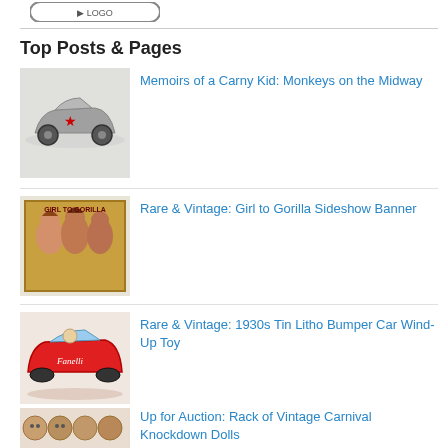[Figure (logo): Logo at top left, rounded rectangle shape]
Top Posts & Pages
[Figure (photo): Vintage tin toy car, grey/silver, low profile racing car with wheels]
Memoirs of a Carny Kid: Monkeys on the Midway
[Figure (photo): Girl to Gorilla sideshow banner, colorful, shows women and gorilla figures]
Rare & Vintage: Girl to Gorilla Sideshow Banner
[Figure (photo): Red 1930s tin litho bumper car wind-up toy with small figure driver]
Rare & Vintage: 1930s Tin Litho Bumper Car Wind-Up Toy
[Figure (photo): Row of vintage carnival knockdown dolls, brown/tan colored]
Up for Auction: Rack of Vintage Carnival Knockdown Dolls